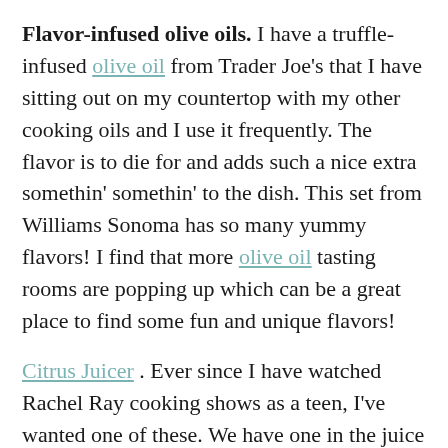Flavor-infused olive oils. I have a truffle-infused olive oil from Trader Joe's that I have sitting out on my countertop with my other cooking oils and I use it frequently. The flavor is to die for and adds such a nice extra somethin' somethin' to the dish. This set from Williams Sonoma has so many yummy flavors! I find that more olive oil tasting rooms are popping up which can be a great place to find some fun and unique flavors!
Citrus Juicer. Ever since I have watched Rachel Ray cooking shows as a teen, I've wanted one of these. We have one in the juice commercial kitchen and it makes my life so much easier! Why I haven't gotten one by n